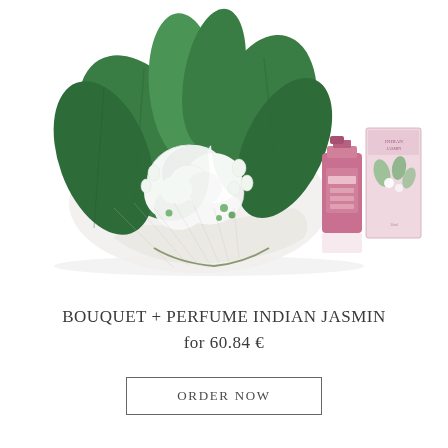[Figure (photo): A bouquet of white flowers (lily of the valley and white hyacinth) with large green leaves, wrapped in decorative paper, next to a pink perfume bottle and a pink and white product box labeled Indian Jasmin, on a white background.]
BOUQUET + PERFUME INDIAN JASMIN for 60.84 €
ORDER NOW